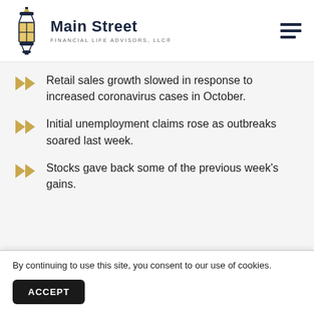[Figure (logo): Main Street Financial Life Advisors, LLC logo with lantern icon]
Retail sales growth slowed in response to increased coronavirus cases in October.
Initial unemployment claims rose as outbreaks soared last week.
Stocks gave back some of the previous week's gains.
By continuing to use this site, you consent to our use of cookies.
ACCEPT